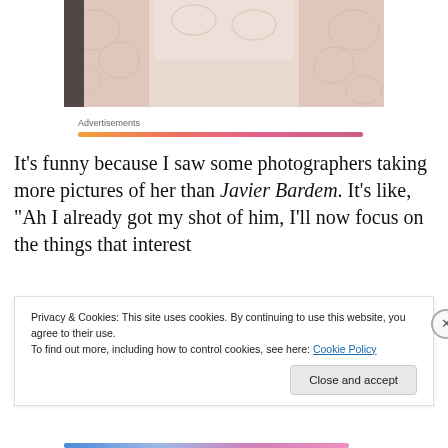[Figure (photo): Cropped photo of a person wearing a white lace-sleeved dress, torso visible]
Advertisements
It's funny because I saw some photographers taking more pictures of her than Javier Bardem. It's like, "Ah I already got my shot of him, I'll now focus on the things that interest
Privacy & Cookies: This site uses cookies. By continuing to use this website, you agree to their use.
To find out more, including how to control cookies, see here: Cookie Policy
Close and accept